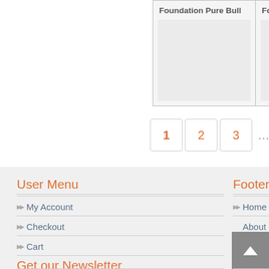| Foundation Pure Bull | Foundation... |
| --- | --- |
| (image) | (image) |
1  2  3  ...  18  Next
User Menu
My Account
Checkout
Cart
Get our Newsletter
Footer Menu
Home
About Dr. Kim
Contact Us
Our Livestock
Privacy Policy